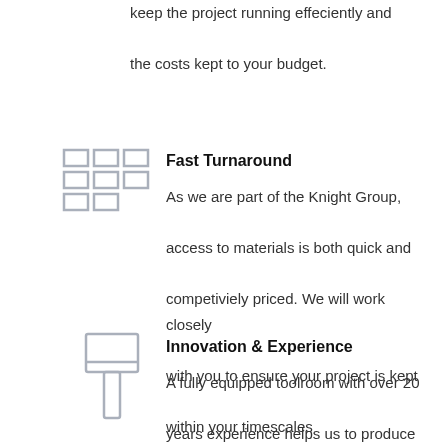keep the project running effeciently and the costs kept to your budget.
[Figure (illustration): Grid/tiles icon representing fast turnaround - a 3x2 grid of rectangles in light grey outline style]
Fast Turnaround
As we are part of the Knight Group, access to materials is both quick and competiviely priced. We will work closely with you to ensure your project is kept within your timescales
[Figure (illustration): Paintbrush/tool icon representing innovation and experience - a brush with handle in light grey outline style]
Innovation & Experience
A fully equipped toolroom with over 20 years experience helps us to produce high quality bespoke tooling. We will